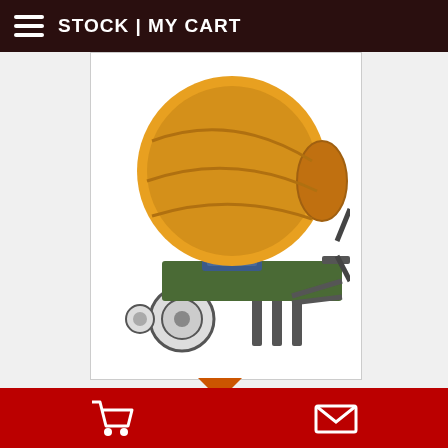STOCK | MY CART
[Figure (photo): Yellow reversing drum concrete mixer RDCM350-11D on wheels with blue engine housing, shown against white background]
REVERSING DRUM CONCRETE MIXER RDCM350-11D
NEW
ID: 1174
Qty Available: 50 UNITS
Manufactured by:
JURONG TOPMAC MACHINERY
The price: $ P.O.A.
Cart | Contact